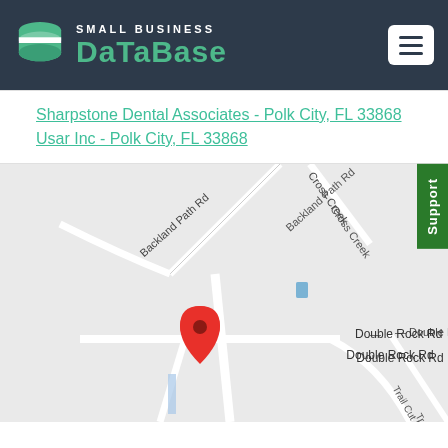SMALL BUSINESS DATABASE
Sharpstone Dental Associates - Polk City, FL 33868
Usar Inc - Polk City, FL 33868
[Figure (map): Google Maps screenshot showing Double Rock Rd area in Polk City, FL with roads Backland Path Rd, Cross Creek, Trail Cut Rd, and a red map pin marker on Double Rock Rd.]